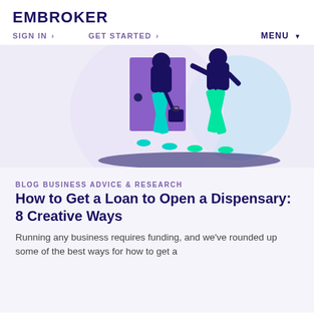EMBROKER
SIGN IN >   GET STARTED >   MENU
[Figure (illustration): Illustration of two business people walking, one carrying a briefcase, with a purple door and light blue circular background, on a light purple background.]
BLOG BUSINESS ADVICE & RESEARCH
How to Get a Loan to Open a Dispensary: 8 Creative Ways
Running any business requires funding, and we've rounded up some of the best ways for how to get a